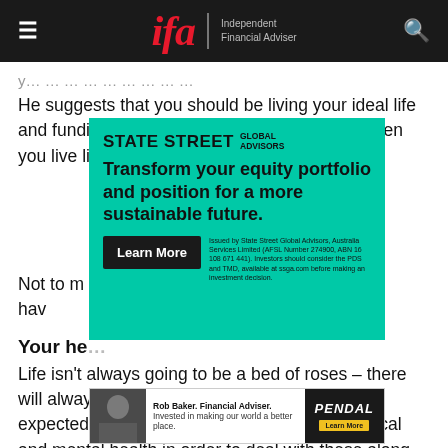IFA – Independent Financial Adviser
He suggests that you should be living your ideal life and funding mini-breaks along the way. And when you live like that, you will not regret the day you die.
[Figure (infographic): State Street Global Advisors advertisement on green background. Headline: Transform your equity portfolio and position for a more sustainable future. Button: Learn More. Disclaimer text about AFSL, ABN, PDS and TMD.]
Not to mention the regret of others by not having done what you needed to do that needs to be done.
Your he...
Life isn't always going to be a bed of roses – there will always be setbacks and things that aren't expected. It's important to look after your physical and mental health in order to deal with these along the way. This also helps you live your ideal life we...
[Figure (infographic): Pendal advertisement. Rob Baker. Financial Adviser. Invested in making our world a better place. Learn More button.]